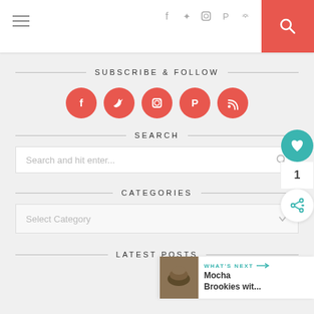Navigation header with hamburger menu, social icons (f, twitter, instagram, pinterest, rss), and search button
SUBSCRIBE & FOLLOW
[Figure (illustration): Five red circular social media icons: Facebook, Twitter, Instagram, Pinterest, RSS]
SEARCH
[Figure (screenshot): Search input box with placeholder text 'Search and hit enter...' and a search icon]
CATEGORIES
[Figure (screenshot): Category dropdown selector with placeholder 'Select Category' and dropdown arrow]
LATEST POSTS